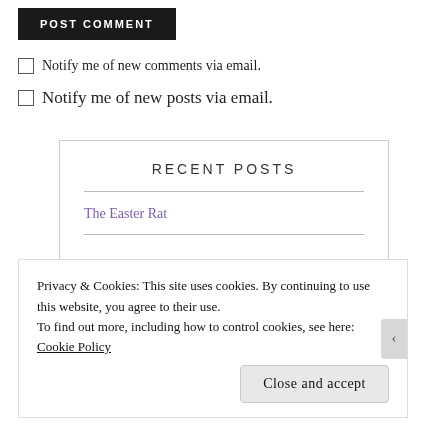POST COMMENT
Notify me of new comments via email.
Notify me of new posts via email.
RECENT POSTS
The Easter Rat
Privacy & Cookies: This site uses cookies. By continuing to use this website, you agree to their use.
To find out more, including how to control cookies, see here: Cookie Policy
Close and accept